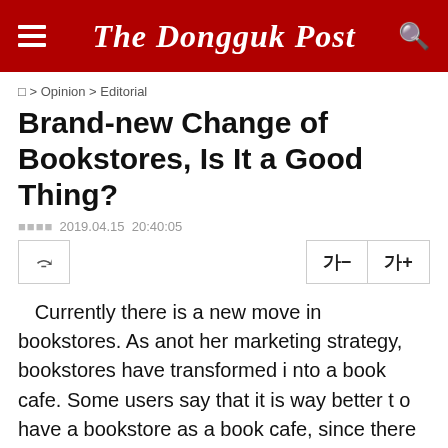The Dongguk Post
🏠 > Opinion > Editorial
Brand-new Change of Bookstores, Is It a Good Thing?
□□□□ 2019.04.15  20:40:05
Currently there is a new move in bookstores. As another marketing strategy, bookstores have transformed into a book cafe. Some users say that it is way better to have a bookstore as a book cafe, since there are relatively more new books than library. Also, this change might be good in that people can read books and exchange ideas freely with others, while enjoying a cup...